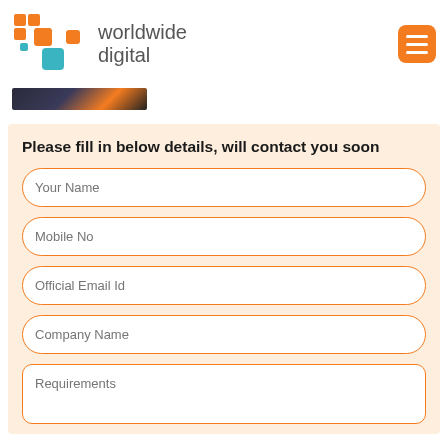[Figure (logo): Worldwide Digital logo with orange and teal squares pattern and text 'worldwide digital']
[Figure (photo): Dark banner strip with abstract angled shapes in dark blue/purple and orange]
Please fill in below details, will contact you soon
Your Name
Mobile No
Official Email Id
Company Name
Requirements